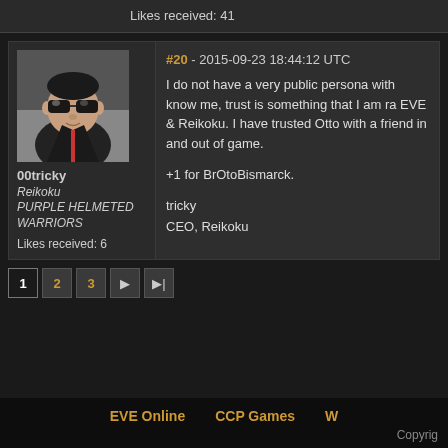Likes received: 41
#20 - 2015-09-23 18:44:12 UTC
[Figure (illustration): 3D rendered avatar of a male character wearing aviator sunglasses and a dark jacket]
00tricky
Reikoku
PURPLE HELMETED WARRIORS
Likes received: 6
I do not have a very public persona with know me, trust is something that I am ra EVE & Reikoku. I have trusted Otto with a friend in and out of game.
+1 for BrOtoBismarck.
tricky
CEO, Reikoku
1 2 3 ▶ ▶|
EVE Online    CCP Games    W    Copyright